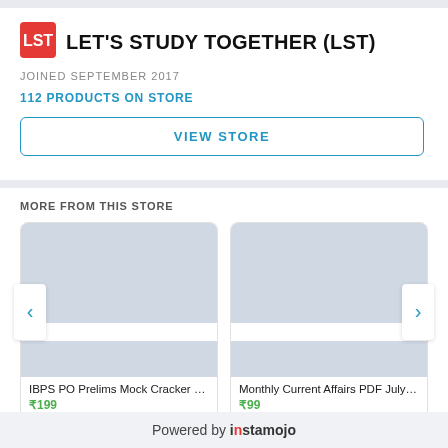LET'S STUDY TOGETHER (LST)
JOINED SEPTEMBER 2017
112 PRODUCTS ON STORE
VIEW STORE
MORE FROM THIS STORE
[Figure (screenshot): Product card for IBPS PO Prelims Mock Cracker 2022 priced at ₹199]
[Figure (screenshot): Product card for Monthly Current Affairs PDF July 2022 priced at ₹99]
Powered by instamojo